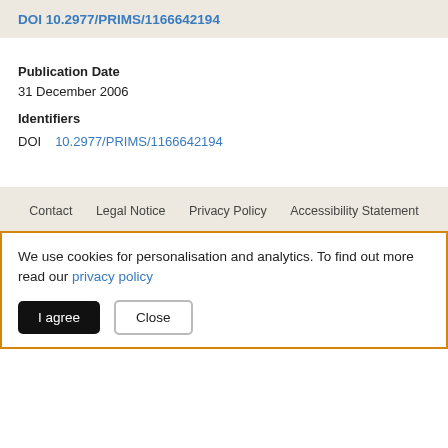DOI 10.2977/PRIMS/1166642194
Publication Date
31 December 2006
Identifiers
DOI   10.2977/PRIMS/1166642194
Contact   Legal Notice   Privacy Policy   Accessibility Statement
We use cookies for personalisation and analytics. To find out more read our privacy policy
I agree   Close